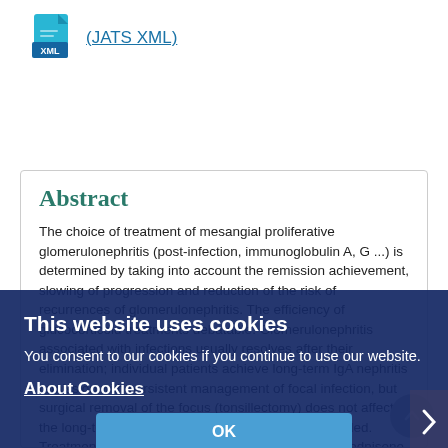[Figure (other): XML file icon (blue document icon with XML label)]
(JATS XML)
Abstract
The choice of treatment of mesangial proliferative glomerulonephritis (post-infection, immunoglobulin A, G ...) is determined by taking into account the remission achievement, slowing of progression and reduction of the risk of recurrences of glomerulonephritis. The efficiency of glucocorticoid treatments debatable. Glomerulonephritis associated with infections usually resolves after their elimination; individual patients achieve long-term IgA nephritis remission with persistent management of focal infection, but surgical removal of the focus (tonsillectomy) does not affect the long-term prognosis, therefore is not recommended. Treatment of immunoglobulin A nephritis with oral prednisone for up to 4 months, sometimes in combination with cyclophosphamide (cyclosphane), reduces the likelihood of its relapse. At low risk of progression of immunoglobulin A nephritis with proteinuria less than 1 g/day, long-term therapy with angiotensin-converting enzyme inhibitors or angiotensin receptor blockers is indicated with administration of maximum tolerated doses
This website uses cookies
You consent to our cookies if you continue to use our website.
About Cookies
OK